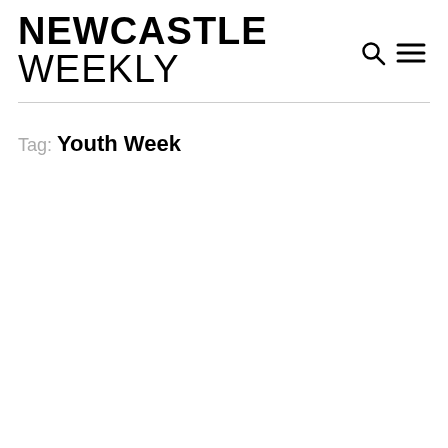NEWCASTLE WEEKLY
Tag: Youth Week